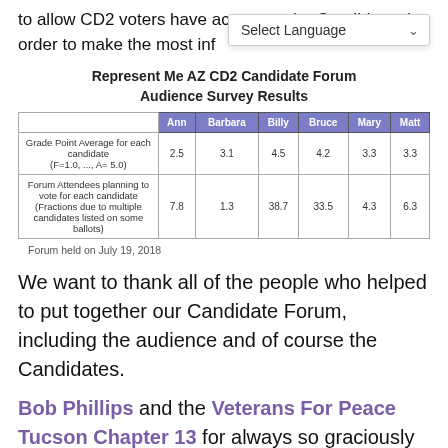to allow CD2 voters have access to the Candidates in order to make the most inf
Represent Me AZ CD2 Candidate Forum
Audience Survey Results
|  | Ann | Barbara | Billy | Bruce | Mary | Matt |
| --- | --- | --- | --- | --- | --- | --- |
| Grade Point Average for each candidate (F=1.0, ..., A= 5.0) | 2.5 | 3.1 | 4.5 | 4.2 | 3.3 | 3.3 |
| Forum Attendees planning to vote for each candidate  (Fractions due to multiple candidates listed on some ballots) | 7.8 | 1.3 | 38.7 | 33.5 | 4.3 | 6.3 |
Forum held on July 19, 2018
We want to thank all of the people who helped to put together our Candidate Forum, including the audience and of course the Candidates.
Bob Phillips and the Veterans For Peace Tucson Chapter 13 for always so graciously making us feel safe and cared for.